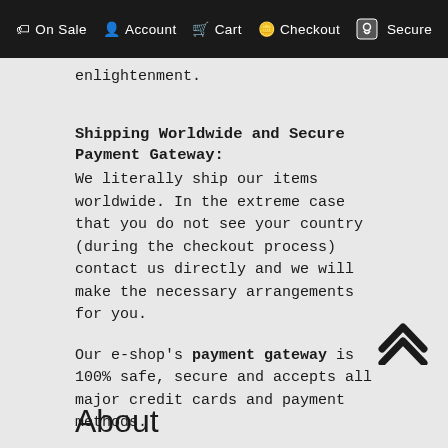On Sale  Account  Cart  Checkout  Secure
enlightenment.
Shipping Worldwide and Secure Payment Gateway:
We literally ship our items worldwide. In the extreme case that you do not see your country (during the checkout process) contact us directly and we will make the necessary arrangements for you.
Our e-shop's payment gateway is 100% safe, secure and accepts all major credit cards and payment methods.
On Etsy:
You can also find us on Etsy here: AGR on Etsy
About